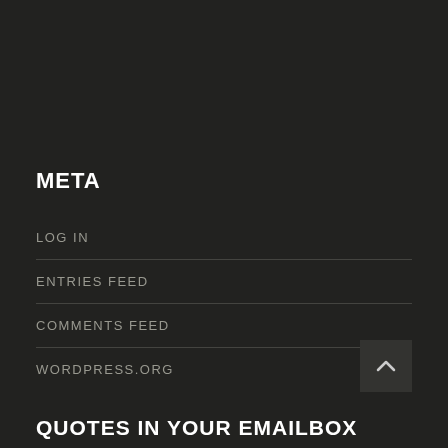META
LOG IN
ENTRIES FEED
COMMENTS FEED
WORDPRESS.ORG
QUOTES IN YOUR EMAILBOX